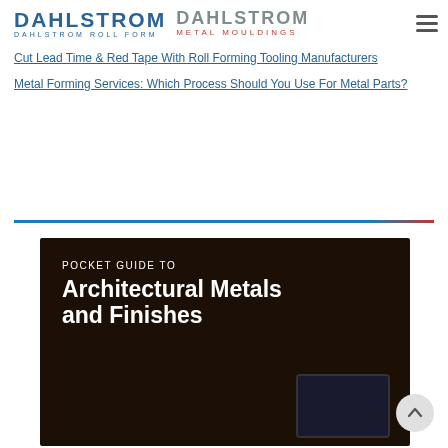DAHLSTROM DAHLSTROM ROLL FORM | DAHLSTROM METAL MOULDINGS
Cut Lead Time & Red Tape With Roll Forming Tooling Manufacturers
Metal Forming Services: Which Process Should You Use For Metal Parts?
[Figure (illustration): Promotional image with dark background showing 'POCKET GUIDE TO Architectural Metals and Finishes' text overlay, with a tablet device at the bottom right.]